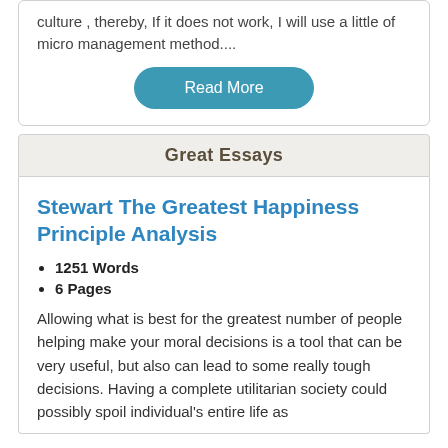culture , thereby, If it does not work, I will use a little of micro management method....
Read More
Great Essays
Stewart The Greatest Happiness Principle Analysis
1251 Words
6 Pages
Allowing what is best for the greatest number of people helping make your moral decisions is a tool that can be very useful, but also can lead to some really tough decisions. Having a complete utilitarian society could possibly spoil individual's entire life as